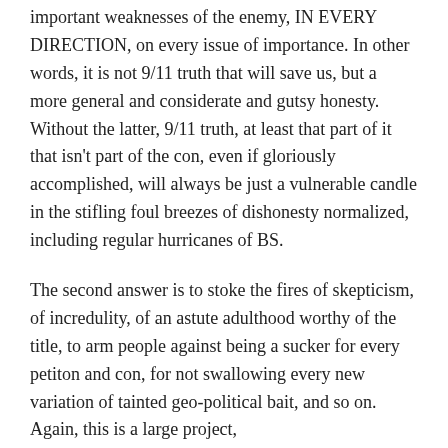important weaknesses of the enemy, IN EVERY DIRECTION, on every issue of importance. In other words, it is not 9/11 truth that will save us, but a more general and considerate and gutsy honesty. Without the latter, 9/11 truth, at least that part of it that isn't part of the con, even if gloriously accomplished, will always be just a vulnerable candle in the stifling foul breezes of dishonesty normalized, including regular hurricanes of BS.
The second answer is to stoke the fires of skepticism, of incredulity, of an astute adulthood worthy of the title, to arm people against being a sucker for every petiton and con, for not swallowing every new variation of tainted geo-political bait, and so on. Again, this is a large project,